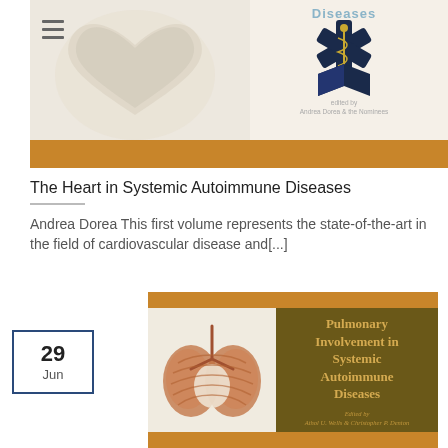[Figure (photo): Book cover for 'The Heart in Systemic Autoimmune Diseases' showing a heart illustration and medical logo with 'Diseases' text visible at top]
The Heart in Systemic Autoimmune Diseases
Andrea Dorea This first volume represents the state-of-the-art in the field of cardiovascular disease and[...]
[Figure (photo): Book cover for 'Pulmonary Involvement in Systemic Autoimmune Diseases' edited by Athol U. Wells & Christopher P. Denton, showing a lung illustration on dark gold/olive background with amber bands top and bottom]
29 Jun